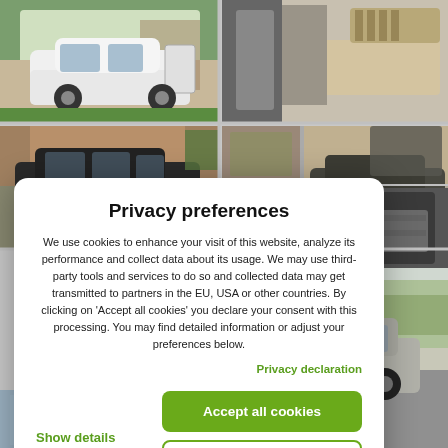[Figure (photo): Grid of car photos showing vehicles with open doors/trunks and interior sleeping arrangements (camper van conversions). Six photos arranged in a 2-column grid.]
[Figure (screenshot): Privacy preferences cookie consent dialog overlay on top of the car photo grid. Contains title 'Privacy preferences', body text about cookies, a 'Privacy declaration' link, 'Show details' link, 'Accept all cookies' green button, and 'Reject all' outlined button.]